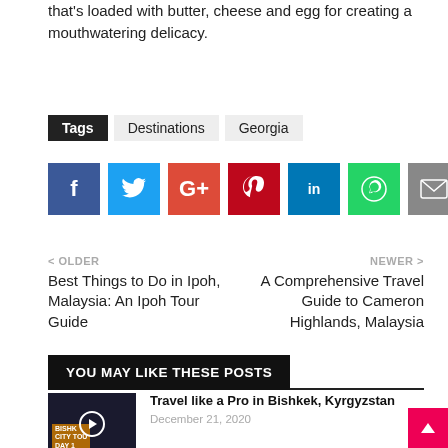that's loaded with butter, cheese and egg for creating a mouthwatering delicacy.
Tags  Destinations  Georgia
[Figure (infographic): Social share buttons: Facebook (blue), Twitter (light blue), Google+ (red), Pinterest (dark red), LinkedIn (blue), WhatsApp (green), Email (gray)]
< OLDER
Best Things to Do in Ipoh, Malaysia: An Ipoh Tour Guide
NEWER >
A Comprehensive Travel Guide to Cameron Highlands, Malaysia
YOU MAY LIKE THESE POSTS
[Figure (photo): Thumbnail for Bishkek City Tour video, Day 1, with play button overlay]
Travel like a Pro in Bishkek, Kyrgyzstan
December 21, 2020
[Figure (photo): Thumbnail for UAE tourist destinations video with play button overlay]
6 Top Tourist Destinations to Explore From the United Arab Emirates
November 27, 2020